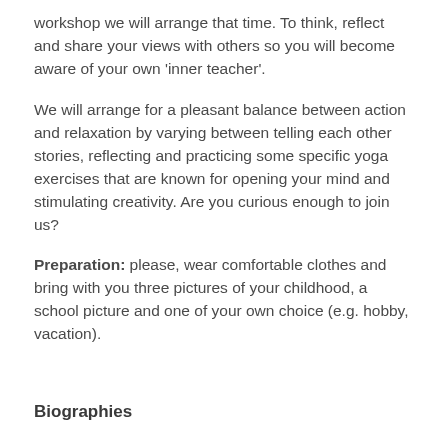workshop we will arrange that time. To think, reflect and share your views with others so you will become aware of your own ‘inner teacher’.
We will arrange for a pleasant balance between action and relaxation by varying between telling each other stories, reflecting and practicing some specific yoga exercises that are known for opening your mind and stimulating creativity. Are you curious enough to join us?
Preparation: please, wear comfortable clothes and bring with you three pictures of your childhood, a school picture and one of your own choice (e.g. hobby, vacation).
Biographies